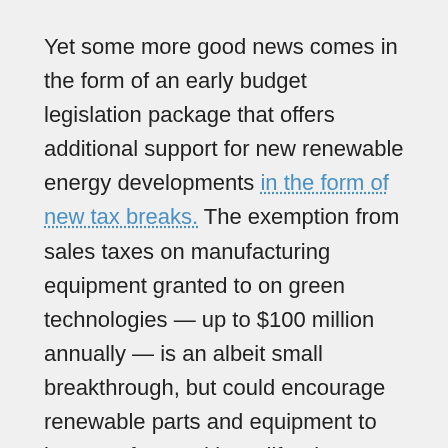Yet some more good news comes in the form of an early budget legislation package that offers additional support for new renewable energy developments in the form of new tax breaks. The exemption from sales taxes on manufacturing equipment granted to on green technologies — up to $100 million annually — is an albeit small breakthrough, but could encourage renewable parts and equipment to be manufactured in California.
Other signs of progress include an agreement between farmers and solar developers to cluster new renewable generation on lands precluded from agricultural activities due to past pollution problems and high levels of salinity. As environmental challenges mount in the desert, shortages of water, prior environmental damage, and fewer protected lands and species have made lower solar radiation central valley lands more attractive alternative